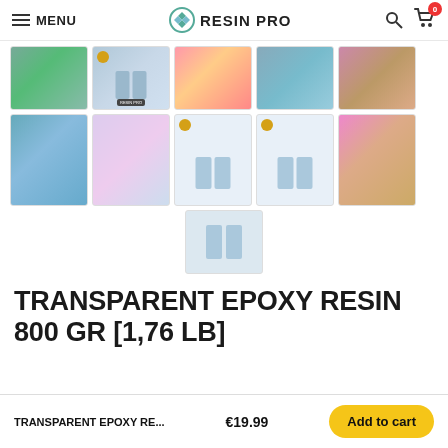MENU | RESIN PRO | Search | Cart (0)
[Figure (screenshot): Product image gallery showing 11 thumbnail images of epoxy resin product and craft projects in two rows plus one centered image]
TRANSPARENT EPOXY RESIN 800 GR [1,76 LB]
TRANSPARENT EPOXY RE... €19.99  Add to cart